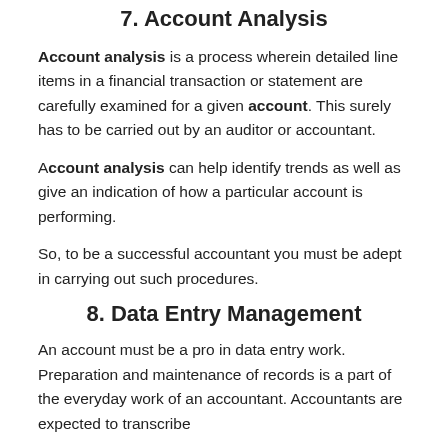7. Account Analysis
Account analysis is a process wherein detailed line items in a financial transaction or statement are carefully examined for a given account. This surely has to be carried out by an auditor or accountant.
Account analysis can help identify trends as well as give an indication of how a particular account is performing.
So, to be a successful accountant you must be adept in carrying out such procedures.
8. Data Entry Management
An account must be a pro in data entry work. Preparation and maintenance of records is a part of the everyday work of an accountant. Accountants are expected to transcribe